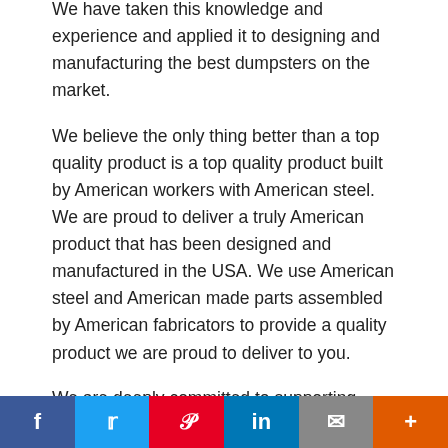We have taken this knowledge and experience and applied it to designing and manufacturing the best dumpsters on the market.
We believe the only thing better than a top quality product is a top quality product built by American workers with American steel. We are proud to deliver a truly American product that has been designed and manufactured in the USA. We use American steel and American made parts assembled by American fabricators to provide a quality product we are proud to deliver to you.
We are deeply committed to supporting American families by providing jobs in...